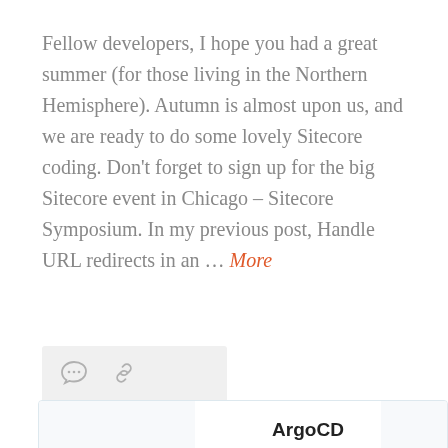Fellow developers, I hope you had a great summer (for those living in the Northern Hemisphere). Autumn is almost upon us, and we are ready to do some lovely Sitecore coding. Don't forget to sign up for the big Sitecore event in Chicago – Sitecore Symposium. In my previous post, Handle URL redirects in an ... More
[Figure (other): Icon bar with comment bubble icon and chain/link icon on a light gray background]
[Figure (engineering-diagram): Partial diagram showing ArgoCD label at the top center with the ArgoCD octopus logo below it, and partial text on the left reading 'ync' and 'ifests', and a partial letter 'C' on the far right, with dashed blue border lines at the bottom]